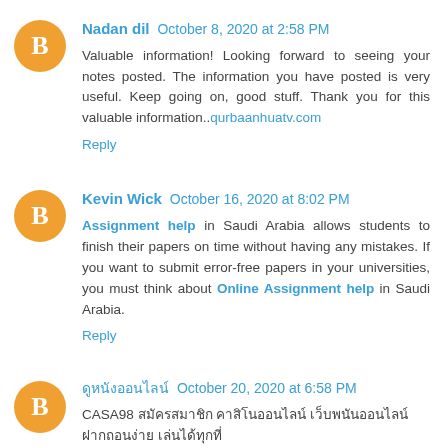Nadan dil  October 8, 2020 at 2:58 PM
Valuable information! Looking forward to seeing your notes posted. The information you have posted is very useful. Keep going on, good stuff. Thank you for this valuable information..qurbaanhuatv.com
Reply
Kevin Wick  October 16, 2020 at 8:02 PM
Assignment help in Saudi Arabia allows students to finish their papers on time without having any mistakes. If you want to submit error-free papers in your universities, you must think about Online Assignment help in Saudi Arabia.
Reply
ดูหนังออนไลน์  October 20, 2020 at 6:58 PM
CASA98 สมัครสมาชิก คาสิโนออนไลน์ เว็บพนันออนไลน์ ฝากถอนง่าย เล่นได้ทุกที่
casa98